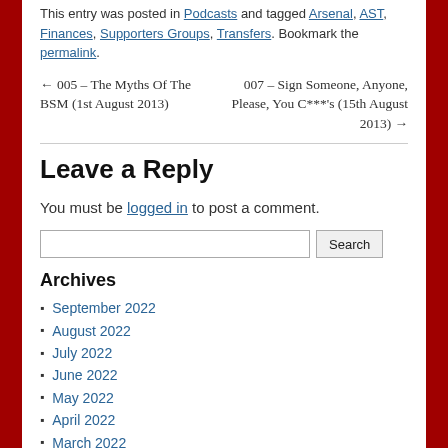This entry was posted in Podcasts and tagged Arsenal, AST, Finances, Supporters Groups, Transfers. Bookmark the permalink.
← 005 – The Myths Of The BSM (1st August 2013)
007 – Sign Someone, Anyone, Please, You C***'s (15th August 2013) →
Leave a Reply
You must be logged in to post a comment.
Archives
September 2022
August 2022
July 2022
June 2022
May 2022
April 2022
March 2022
February 2022